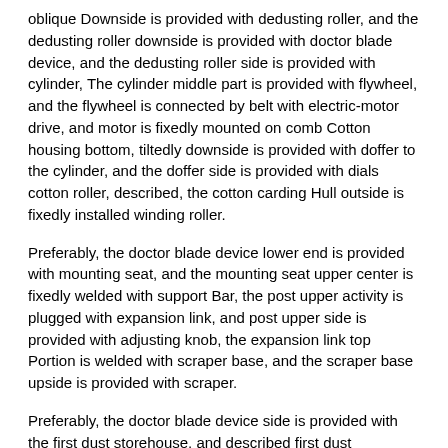oblique Downside is provided with dedusting roller, and the dedusting roller downside is provided with doctor blade device, and the dedusting roller side is provided with cylinder, The cylinder middle part is provided with flywheel, and the flywheel is connected by belt with electric-motor drive, and motor is fixedly mounted on comb Cotton housing bottom, tiltedly downside is provided with doffer to the cylinder, and the doffer side is provided with dials cotton roller, described, the cotton carding Hull outside is fixedly installed winding roller.
Preferably, the doctor blade device lower end is provided with mounting seat, and the mounting seat upper center is fixedly welded with support Bar, the post upper activity is plugged with expansion link, and post upper side is provided with adjusting knob, the expansion link top Portion is welded with scraper base, and the scraper base upside is provided with scraper.
Preferably, the doctor blade device side is provided with the first dust storehouse, and described first dust storehouse one end is provided with impurities removal Mouthful.